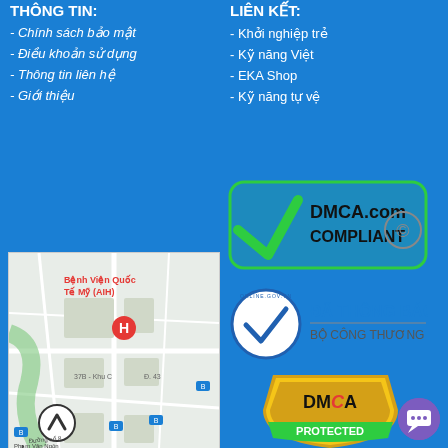THÔNG TIN:
- Chính sách bảo mật
- Điều khoản sử dụng
- Thông tin liên hệ
- Giới thiệu
LIÊN KẾT:
- Khởi nghiệp trẻ
- Kỹ năng Việt
- EKA Shop
- Kỹ năng tự vệ
[Figure (logo): DMCA.com Compliant badge with green checkmark]
[Figure (logo): Online.gov.vn ĐÃ THÔNG BÁO BỘ CÔNG THƯƠNG badge]
[Figure (map): Google Maps showing Bệnh Viện Quốc Tế Mỹ (AIH) area]
[Figure (logo): DMCA Protected gold shield badge]
[Figure (illustration): Purple chat/support button]